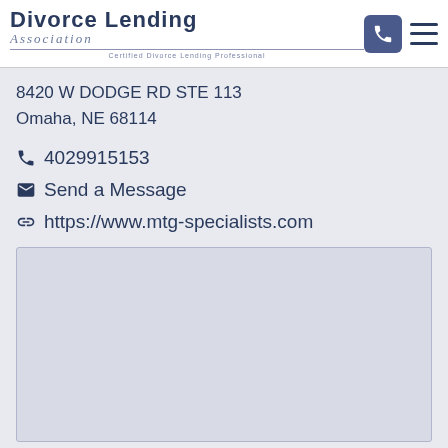Divorce Lending Association — Certified Divorce Lending Professional
8420 W DODGE RD STE 113
Omaha, NE 68114
4029915153
Send a Message
https://www.mtg-specialists.com
[Figure (map): Embedded map area showing location of 8420 W Dodge Rd STE 113, Omaha, NE 68114]